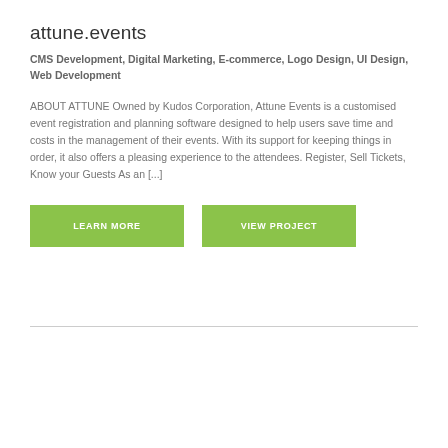attune.events
CMS Development, Digital Marketing, E-commerce, Logo Design, UI Design, Web Development
ABOUT ATTUNE Owned by Kudos Corporation, Attune Events is a customised event registration and planning software designed to help users save time and costs in the management of their events. With its support for keeping things in order, it also offers a pleasing experience to the attendees. Register, Sell Tickets, Know your Guests As an [...]
LEARN MORE
VIEW PROJECT